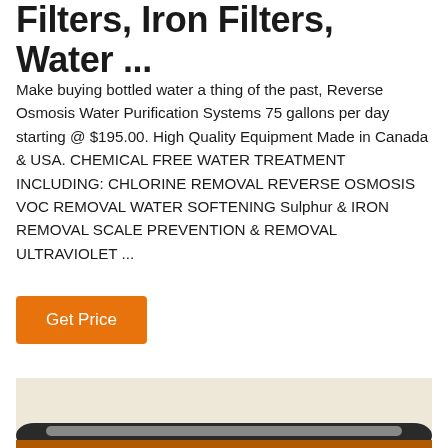Filters, Iron Filters, Water ...
Make buying bottled water a thing of the past, Reverse Osmosis Water Purification Systems 75 gallons per day starting @ $195.00. High Quality Equipment Made in Canada & USA. CHEMICAL FREE WATER TREATMENT INCLUDING: CHLORINE REMOVAL REVERSE OSMOSIS VOC REMOVAL WATER SOFTENING Sulphur & IRON REMOVAL SCALE PREVENTION & REMOVAL ULTRAVIOLET ...
[Figure (other): Orange 'Get Price' button]
[Figure (photo): Partial photo of water filter equipment, cream/beige and metallic tones, cropped at bottom of page]